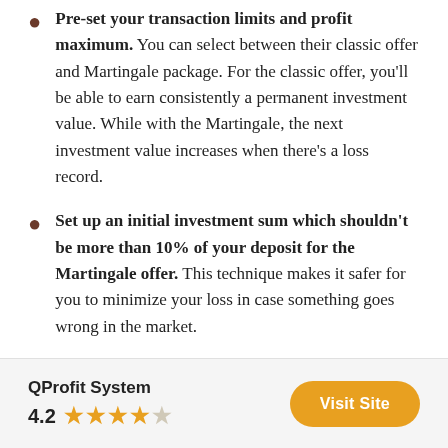Pre-set your transaction limits and profit maximum. You can select between their classic offer and Martingale package. For the classic offer, you'll be able to earn consistently a permanent investment value. While with the Martingale, the next investment value increases when there's a loss record.
Set up an initial investment sum which shouldn't be more than 10% of your deposit for the Martingale offer. This technique makes it safer for you to minimize your loss in case something goes wrong in the market.
QProfit System
4.2
Visit Site